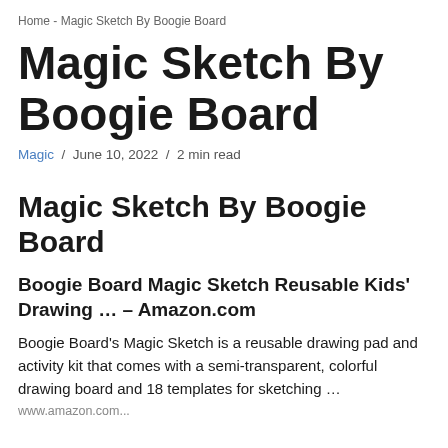Home - Magic Sketch By Boogie Board
Magic Sketch By Boogie Board
Magic / June 10, 2022 / 2 min read
Magic Sketch By Boogie Board
Boogie Board Magic Sketch Reusable Kids' Drawing … – Amazon.com
Boogie Board's Magic Sketch is a reusable drawing pad and activity kit that comes with a semi-transparent, colorful drawing board and 18 templates for sketching …
www.amazon.com...